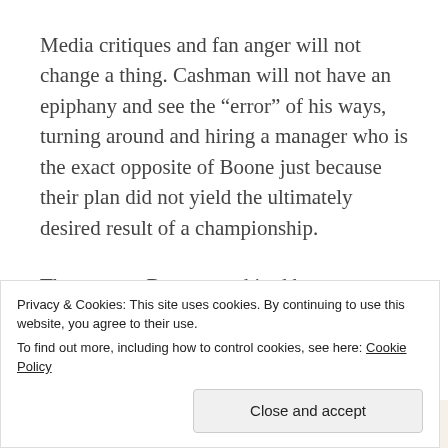Media critiques and fan anger will not change a thing. Cashman will not have an epiphany and see the “error” of his ways, turning around and hiring a manager who is the exact opposite of Boone just because their plan did not yield the ultimately desired result of a championship.
The reasons Boone was hired have not changed, therefore the manager will not change either.
Advertisements
[Figure (other): Advertisement banner showing the word 'Professionally' in large serif text on a beige/cream background]
Privacy & Cookies: This site uses cookies. By continuing to use this website, you agree to their use.
To find out more, including how to control cookies, see here: Cookie Policy
Close and accept